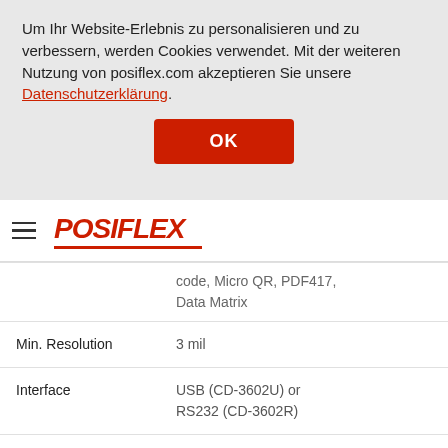Um Ihr Website-Erlebnis zu personalisieren und zu verbessern, werden Cookies verwendet. Mit der weiteren Nutzung von posiflex.com akzeptieren Sie unsere Datenschutzerklärung.
OK
[Figure (logo): POSIFLEX logo in red italic bold text with red underline]
2 of 5, Plessey, MSI
• UCC/EAN-128
• BARCODE (2D): QR code, Micro QR, PDF417, Data Matrix
| Property | Value |
| --- | --- |
|  | code, Micro QR, PDF417, Data Matrix |
| Min. Resolution | 3 mil |
| Interface | USB (CD-3602U) or RS232 (CD-3602R) |